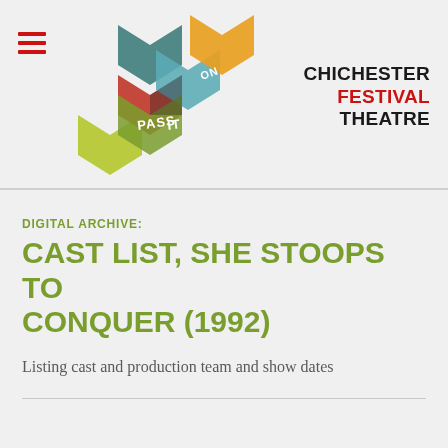[Figure (logo): Pass It On hexagonal logo with colourful geometric shapes (green, dark teal, red, light blue, orange, yellow) and text 'PASS IT ON' overlaid]
CHICHESTER FESTIVAL THEATRE
DIGITAL ARCHIVE:
CAST LIST, SHE STOOPS TO CONQUER (1992)
Listing cast and production team and show dates